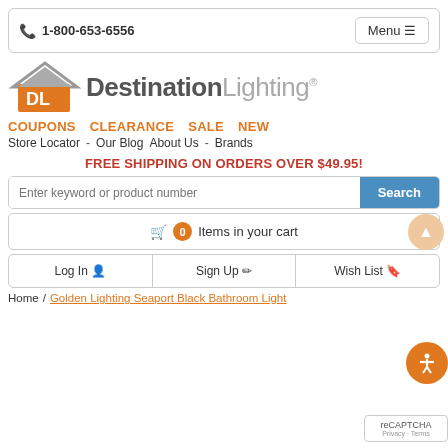1-800-653-6556  Menu
[Figure (logo): Destination Lighting logo with DL icon (orange house with roof, DL letters in white on orange square) and DestinationLighting. text in gray]
COUPONS  CLEARANCE  SALE  NEW
Store Locator  -  Our Blog  About Us  -  Brands
FREE SHIPPING ON ORDERS OVER $49.95!
Enter keyword or product number  Search
0 Items in your cart
Log In   Sign Up   Wish List
Home / Golden Lighting Seaport Black Bathroom Light